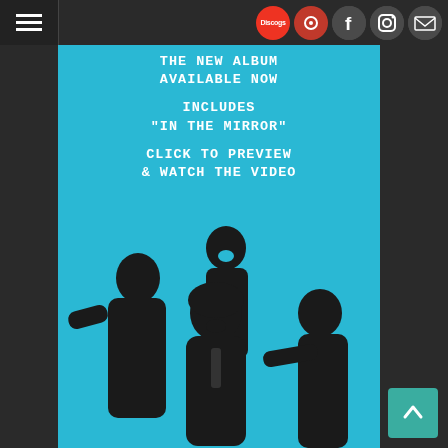Navigation bar with hamburger menu and social icons: Discogs, red circle, Facebook, Instagram, Mail
[Figure (illustration): Cyan/turquoise album promotional banner with white monospace text reading 'THE NEW ALBUM AVAILABLE NOW INCLUDES IN THE MIRROR CLICK TO PREVIEW & WATCH THE VIDEO', with a black-and-white photo of four band members (three men and one woman) in the lower portion against the cyan background]